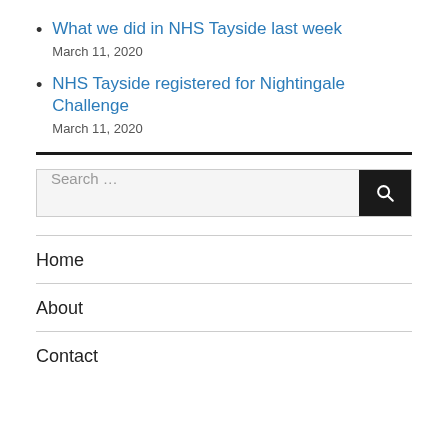What we did in NHS Tayside last week
March 11, 2020
NHS Tayside registered for Nightingale Challenge
March 11, 2020
[Figure (other): Horizontal thick black divider line]
[Figure (other): Search bar with placeholder text 'Search ...' and black search button with magnifying glass icon]
Home
About
Contact